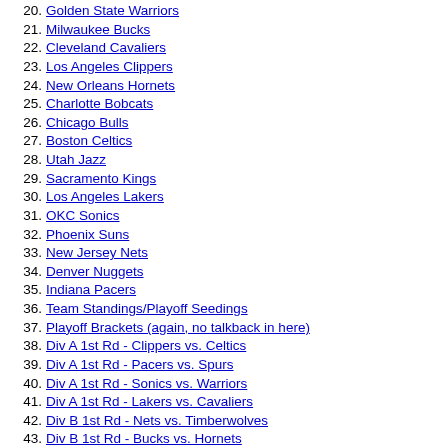20. Golden State Warriors
21. Milwaukee Bucks
22. Cleveland Cavaliers
23. Los Angeles Clippers
24. New Orleans Hornets
25. Charlotte Bobcats
26. Chicago Bulls
27. Boston Celtics
28. Utah Jazz
29. Sacramento Kings
30. Los Angeles Lakers
31. OKC Sonics
32. Phoenix Suns
33. New Jersey Nets
34. Denver Nuggets
35. Indiana Pacers
36. Team Standings/Playoff Seedings
37. Playoff Brackets (again, no talkback in here)
38. Div A 1st Rd - Clippers vs. Celtics
39. Div A 1st Rd - Pacers vs. Spurs
40. Div A 1st Rd - Sonics vs. Warriors
41. Div A 1st Rd - Lakers vs. Cavaliers
42. Div B 1st Rd - Nets vs. Timberwolves
43. Div B 1st Rd - Bucks vs. Hornets
44. Div B 1st Rd - Magic vs. Bobcats
45. Div B 1st Rd - Mavericks vs. Jazz
46. Div B Semifinals - Timberwolves vs. Hornets
47. Div B Semifinals - Magic vs. Jazz
48. Div A Semifinals - Sonics vs. Lakers
49. Div A Semifinals - Clippers vs. Spurs